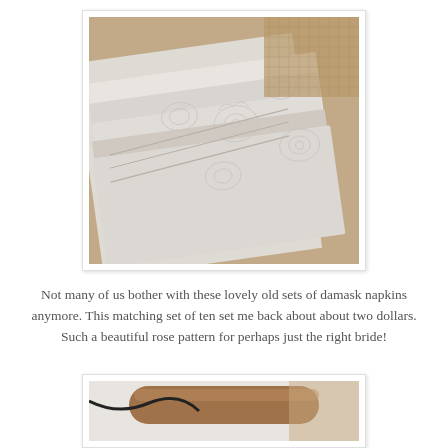[Figure (photo): Photo of white damask napkins with rose pattern, folded and stacked, with burlap/wicker visible in the background. Image has a white photo frame border with slight shadow.]
Not many of us bother with these lovely old sets of damask napkins anymore. This matching set of ten set me back about about two dollars. Such a beautiful rose pattern for perhaps just the right bride!
[Figure (photo): Partial photo (bottom portion of page) showing what appears to be a wooden rolling pin or dowel on white fabric/linen, with a black cord or ribbon visible, partially cropped at the bottom of the page.]